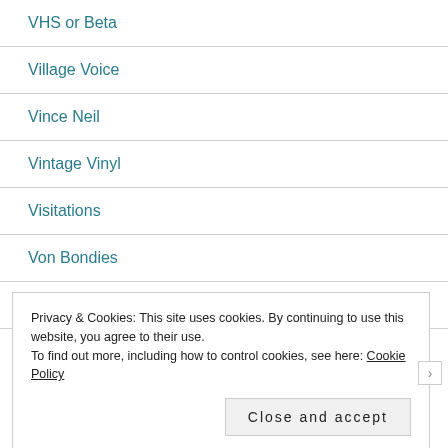VHS or Beta
Village Voice
Vince Neil
Vintage Vinyl
Visitations
Von Bondies
Walkie Talkie U.S.A.
Privacy & Cookies: This site uses cookies. By continuing to use this website, you agree to their use. To find out more, including how to control cookies, see here: Cookie Policy
Close and accept